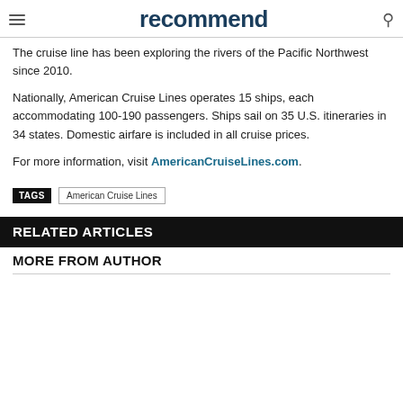recommend
The cruise line has been exploring the rivers of the Pacific Northwest since 2010.
Nationally, American Cruise Lines operates 15 ships, each accommodating 100-190 passengers. Ships sail on 35 U.S. itineraries in 34 states. Domestic airfare is included in all cruise prices.
For more information, visit AmericanCruiseLines.com.
TAGS  American Cruise Lines
RELATED ARTICLES
MORE FROM AUTHOR